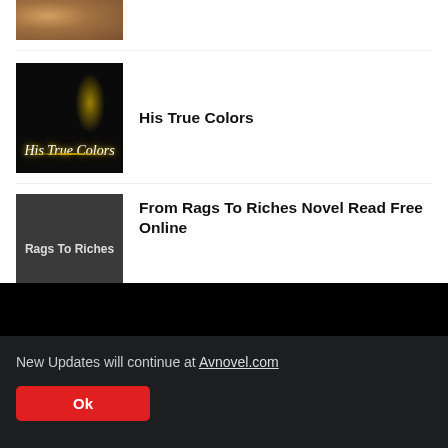[Figure (photo): Partial view of a food/recipe thumbnail image at top, cropped]
[Figure (photo): Dark themed book cover thumbnail for 'His True Colors' with golden neon-style script text on black background with gold light accent]
His True Colors
[Figure (illustration): Dark gray thumbnail with 'Rags To Riches' text for the novel listing]
From Rags To Riches Novel Read Free Online
New Updates will continue at Avnovel.com
Ok